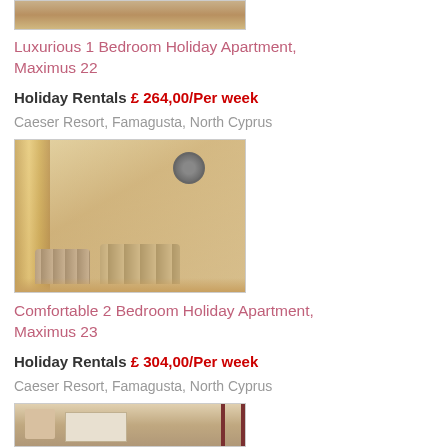[Figure (photo): Top portion of a room photo, partially visible at the top of the page]
Luxurious 1 Bedroom Holiday Apartment, Maximus 22
Holiday Rentals £ 264,00/Per week
Caeser Resort, Famagusta, North Cyprus
[Figure (photo): Interior photo of a living room with striped sofas, curtains, and a round mirror on the wall]
Comfortable 2 Bedroom Holiday Apartment, Maximus 23
Holiday Rentals £ 304,00/Per week
Caeser Resort, Famagusta, North Cyprus
[Figure (photo): Partial photo of another apartment interior, visible at the bottom of the page]